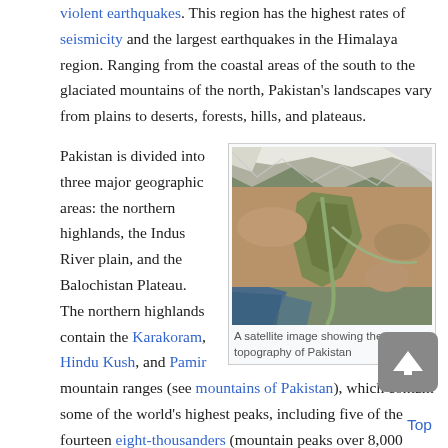violent earthquakes. This region has the highest rates of seismicity and the largest earthquakes in the Himalaya region. Ranging from the coastal areas of the south to the glaciated mountains of the north, Pakistan's landscapes vary from plains to deserts, forests, hills, and plateaus.
[Figure (photo): A satellite image showing the topography of Pakistan — mountains with snow in the north, river plains in the center, and arid terrain in the south.]
A satellite image showing the topography of Pakistan
Pakistan is divided into three major geographic areas: the northern highlands, the Indus River plain, and the Balochistan Plateau. The northern highlands contain the Karakoram, Hindu Kush, and Pamir mountain ranges (see mountains of Pakistan), which contain some of the world's highest peaks, including five of the fourteen eight-thousanders (mountain peaks over 8,000